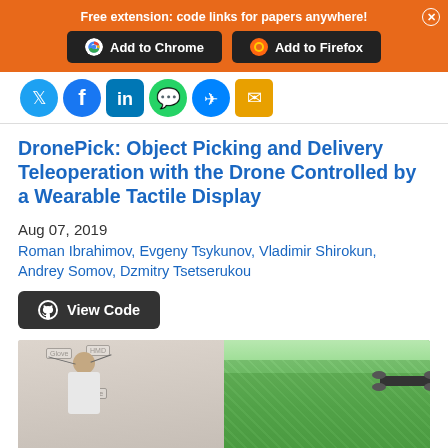Free extension: code links for papers anywhere!
[Figure (screenshot): Social media sharing icons row including Twitter, Facebook, LinkedIn, WhatsApp, Messenger, and email]
DronePick: Object Picking and Delivery Teleoperation with the Drone Controlled by a Wearable Tactile Display
Aug 07, 2019
Roman Ibrahimov, Evgeny Tsykunov, Vladimir Shirokun, Andrey Somov, Dzmitry Tsetserukou
View Code
[Figure (photo): Split image showing a person wearing a glove and HMD headset on the left (with labels pointing to Glove, HMD, and Drone), and a drone flying over a green grassy field on the right]